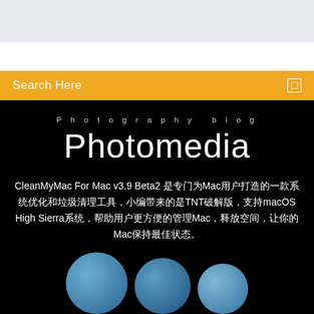[Figure (screenshot): Light lavender/blue banner area at top of page]
Search Here
Photography blog
Photomedia
CleanMyMac For Mac v3.9 Beta2 是专门为Mac用户打造的一款系统优化和垃圾清理工具，小编带来的是TNT破解版，支持macOS High Sierra系统，帮助用户更方便的管理Mac，释放空间，让你的Mac保持最佳状态。